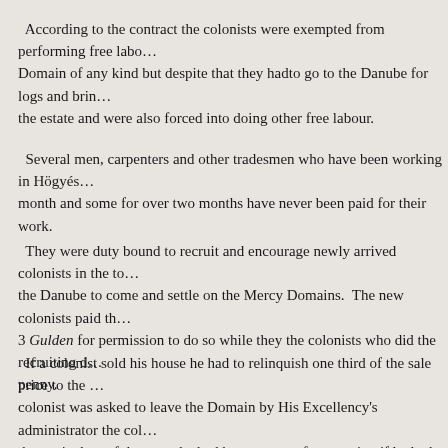According to the contract the colonists were exempted from performing free labour on the Domain of any kind but despite that they hadto go to the Danube for logs and bring them to the estate and were also forced into doing other free labour.
Several men, carpenters and other tradesmen who have been working in Högyés for over a month and some for over two months have never been paid for their work.
They were duty bound to recruit and encourage newly arrived colonists in the town along the Danube to come and settle on the Mercy Domains. The new colonists paid the Domain 3 Gulden for permission to do so while they the colonists who did the recruiting did not get a penny.
If a colonist sold his house he had to relinquish one third of the sale price to the Domain. If a colonist was asked to leave the Domain by His Excellency's administrator the colonist had to pay the equivalent of the taxes he had been exempt from paying if he had remained on the Domain.